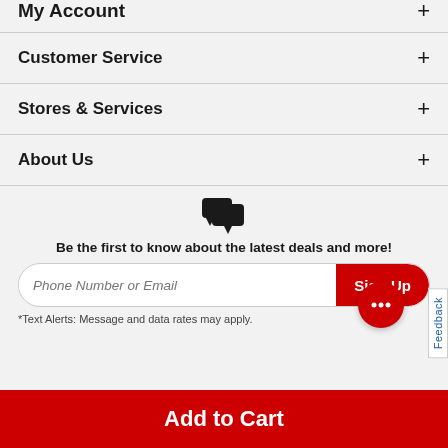My Account
Customer Service
Stores & Services
About Us
[Figure (illustration): Two overlapping speech bubble icons in dark/black color]
Be the first to know about the latest deals and more!
*Text Alerts: Message and data rates may apply.
Add to Cart